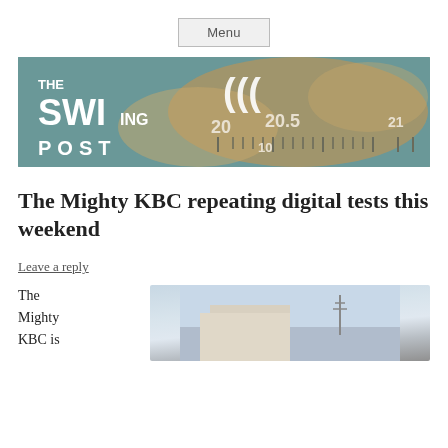Menu
[Figure (illustration): The Swinging Post website banner with radio dial/map background showing frequency numbers 20, 20.5, 21, 10, and logo text THE SWINGING POST with wavy signal lines]
The Mighty KBC repeating digital tests this weekend
Leave a reply
The Mighty KBC is
[Figure (photo): Photo of a building with what appears to be broadcast antenna/tower equipment under a blue sky]